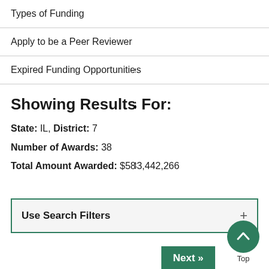Types of Funding
Apply to be a Peer Reviewer
Expired Funding Opportunities
Showing Results For:
State: IL, District: 7
Number of Awards: 38
Total Amount Awarded: $583,442,266
Use Search Filters